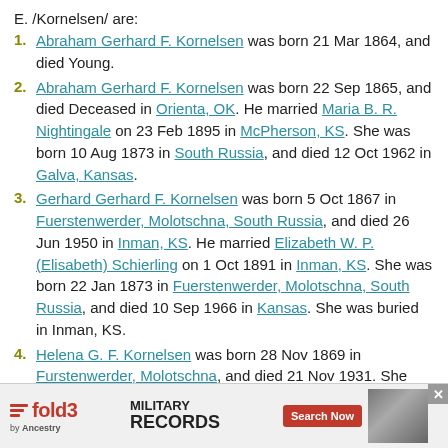E. /Kornelsen/ are:
Abraham Gerhard F. Kornelsen was born 21 Mar 1864, and died Young.
Abraham Gerhard F. Kornelsen was born 22 Sep 1865, and died Deceased in Orienta, OK. He married Maria B. R. Nightingale on 23 Feb 1895 in McPherson, KS. She was born 10 Aug 1873 in South Russia, and died 12 Oct 1962 in Galva, Kansas.
Gerhard Gerhard F. Kornelsen was born 5 Oct 1867 in Fuerstenwerder, Molotschna, South Russia, and died 26 Jun 1950 in Inman, KS. He married Elizabeth W. P. (Elisabeth) Schierling on 1 Oct 1891 in Inman, KS. She was born 22 Jan 1873 in Fuerstenwerder, Molotschna, South Russia, and died 10 Sep 1966 in Kansas. She was buried in Inman, KS.
Helena G. F. Kornelsen was born 28 Nov 1869 in Furstenwerder, Molotschna, and died 21 Nov 1931. She ma... Inman, Mo... Inman,
[Figure (screenshot): Advertisement banner for fold3 Military Records by Ancestry with Search Now button]